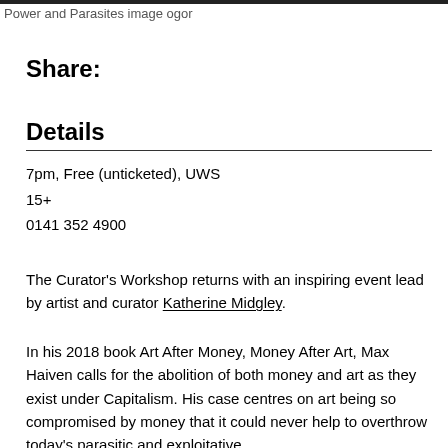Power and Parasites image ogor
Share:
Details
7pm, Free (unticketed), UWS
15+
0141 352 4900
The Curator's Workshop returns with an inspiring event lead by artist and curator Katherine Midgley.
In his 2018 book Art After Money, Money After Art, Max Haiven calls for the abolition of both money and art as they exist under Capitalism. His case centres on art being so compromised by money that it could never help to overthrow today's parasitic and exploitative